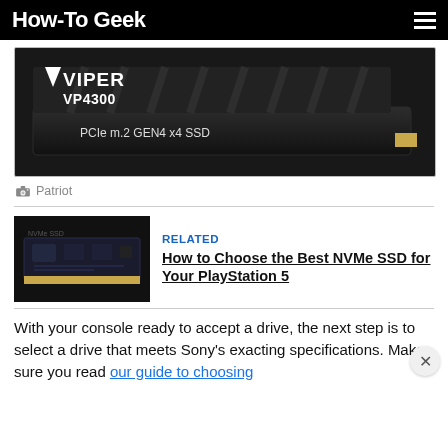How-To Geek
[Figure (photo): Patriot Viper VP4300 PCIe m.2 GEN4 x4 SSD product photo on black background]
Patriot
[Figure (photo): Close-up photo of an NVMe SSD circuit board on dark background]
RELATED
How to Choose the Best NVMe SSD for Your PlayStation 5
With your console ready to accept a drive, the next step is to select a drive that meets Sony's exacting specifications. Make sure you read our guide to choosing